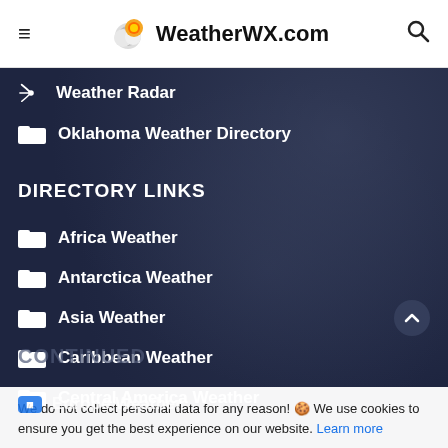WeatherWX.com
Weather Radar
Oklahoma Weather Directory
DIRECTORY LINKS
Africa Weather
Antarctica Weather
Asia Weather
Caribbean Weather
Central America Weather
CONTINUED
We do not collect personal data for any reason! 🍪 We use cookies to ensure you get the best experience on our website. Learn more
Europe Weather